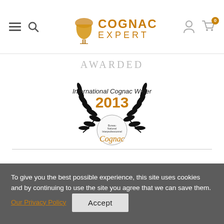Cognac Expert — navigation bar with hamburger menu, search, logo, user and cart icons
AWARDED
[Figure (logo): International Cognac Writer 2013 award badge with laurel wreath and Bureau National Interprofessionnel du Cognac logo]
To give you the best possible experience, this site uses cookies and by continuing to use the site you agree that we can save them. Our Privacy Policy  Accept